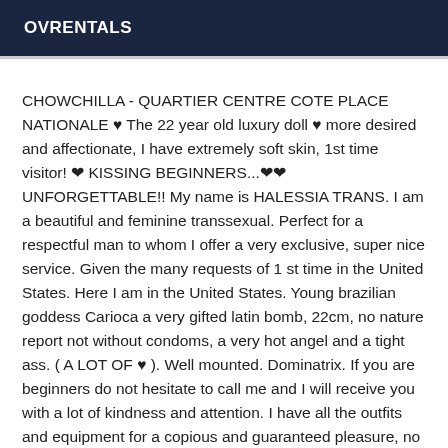OVRENTALS
CHOWCHILLA - QUARTIER CENTRE COTE PLACE NATIONALE ♥ The 22 year old luxury doll ♥ more desired and affectionate, I have extremely soft skin, 1st time visitor! ♥ KISSING BEGINNERS...♥♥ UNFORGETTABLE!! My name is HALESSIA TRANS. I am a beautiful and feminine transsexual. Perfect for a respectful man to whom I offer a very exclusive, super nice service. Given the many requests of 1 st time in the United States. Here I am in the United States. Young brazilian goddess Carioca a very gifted latin bomb, 22cm, no nature report not without condoms, a very hot angel and a tight ass. ( A LOT OF ♥ ). Well mounted. Dominatrix. If you are beginners do not hesitate to call me and I will receive you with a lot of kindness and attention. I have all the outfits and equipment for a copious and guaranteed pleasure, no hurry I love to enjoy long foreplay. Holder of all the records, pure